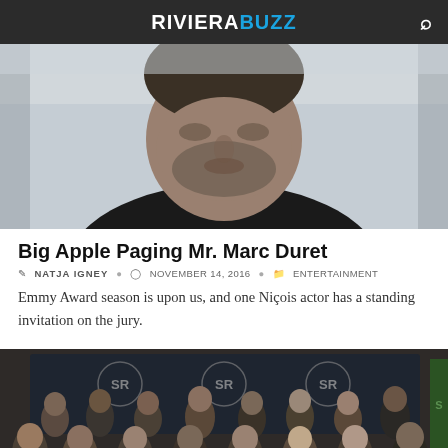RIVIERABUZZ
[Figure (photo): Close-up portrait photo of a middle-aged man with stubble beard, wearing a black t-shirt, light background]
Big Apple Paging Mr. Marc Duret
NATJA IGNEY   November 14, 2016   Entertainment
Emmy Award season is upon us, and one Niçois actor has a standing invitation on the jury.
[Figure (photo): Group photo of approximately 12 people standing in front of a film festival backdrop with 'SR' logos]